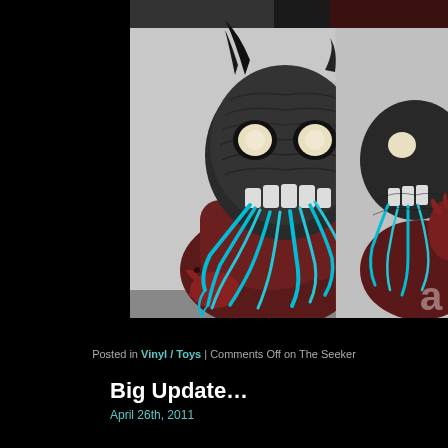[Figure (photo): A horror-themed vinyl toy figure resembling a monster cat or creature with a skull-like face, glowing eyes, exposed teeth, teal/turquoise tentacle-like appendages coming from its mouth, dark gray textured body with black horns, and a dark red body below. A shadow of the figure is visible against a light gray background on the right side. Two panels/angles of the same figure are shown side by side.]
Posted in Vinyl / Toys | Comments Off on The Seeker
Big Update…
April 26th, 2011